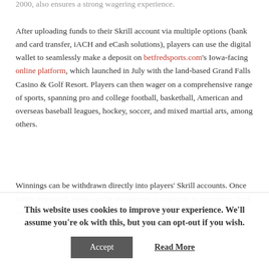2000, also ensures a strong wagering experience. After uploading funds to their Skrill account via multiple options (bank and card transfer, iACH and eCash solutions), players can use the digital wallet to seamlessly make a deposit on betfredsports.com's Iowa-facing online platform, which launched in July with the land-based Grand Falls Casino & Golf Resort. Players can then wager on a comprehensive range of sports, spanning pro and college football, basketball, American and overseas baseball leagues, hockey, soccer, and mixed martial arts, among others.
Winnings can be withdrawn directly into players' Skrill accounts. Once safely deposited, funds can be transferred in real time to customers' bank accounts or withdrawn directly as cash at an
This website uses cookies to improve your experience. We'll assume you're ok with this, but you can opt-out if you wish.